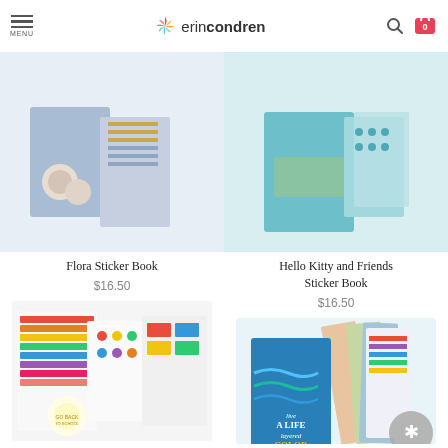MENU | erincondren
[Figure (photo): Flora Sticker Book product image - blue floral and stripe sticker sheets]
Flora Sticker Book
$16.50
[Figure (photo): Hello Kitty and Friends Sticker Book product image - teal sticker book with sticker sheets]
Hello Kitty and Friends Sticker Book
$16.50
[Figure (photo): Colorful rainbow planner sticker book product image]
[Figure (photo): Live a Life Layered in Color sticker book product image]